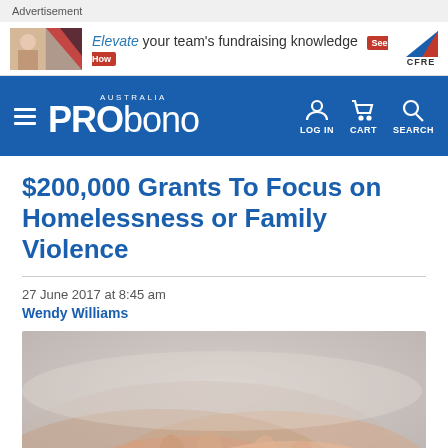Advertisement
[Figure (screenshot): Advertisement banner: people photo on left, text 'Elevate your team's fundraising knowledge See How' and CFRE logo on right]
[Figure (logo): Pro Bono Australia navigation bar with hamburger menu, PRO bono AUSTRALIA logo, LOG IN, CART, SEARCH icons]
$200,000 Grants To Focus on Homelessness or Family Violence
27 June 2017 at 8:45 am
Wendy Williams
[Figure (photo): Close-up photo of hands holding each other, soft focus, warm tones]